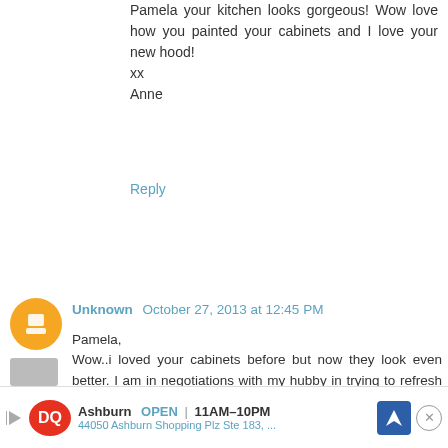Pamela your kitchen looks gorgeous! Wow love how you painted your cabinets and I love your new hood!
xx
Anne
Reply
Unknown  October 27, 2013 at 12:45 PM
Pamela,
Wow..i loved your cabinets before but now they look even better. I am in negotiations with my hubby in trying to refresh our tired 20yr old kitchen oak cabinets. He wants wood, i want tp paint...now i can show him how beautifully you blended the two. I also love the tile you picked. Thanks so much for sharing your gorgeous kitchen!
Be blessed,
Lorena
Reply
[Figure (other): Advertisement banner: Dairy Queen logo, Ashburn location OPEN 11AM-10PM, 44050 Ashburn Shopping Plz Ste 183, with navigation icon and close button]